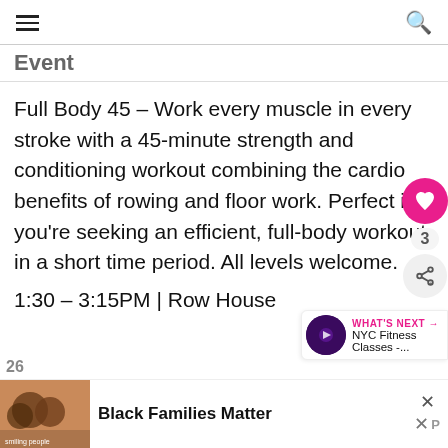≡  🔍
Event
Full Body 45 – Work every muscle in every stroke with a 45-minute strength and conditioning workout combining the cardio benefits of rowing and floor work. Perfect if you're seeking an efficient, full-body workout in a short time period. All levels welcome.
1:30 – 3:15PM | Row House
[Figure (other): Advertisement thumbnail showing smiling people (Black Families Matter ad)]
Black Families Matter